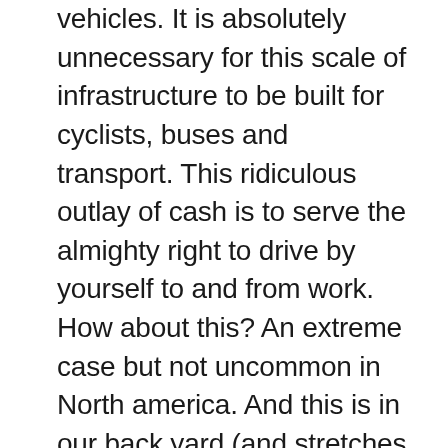comprised mainly of single occupancy vehicles. It is absolutely unnecessary for this scale of infrastructure to be built for cyclists, buses and transport. This ridiculous outlay of cash is to serve the almighty right to drive by yourself to and from work. How about this? An extreme case but not uncommon in North america. And this is in our back yard (and stretches for quite a few kilometres through toronto): http://maps.google.ca/maps?f=q&hl=en... SIXTEEN LANES! Is this necessary to get lettuce to our supermarkets?

Yes, we all use the roads but there is no doubt that the public expenditure is